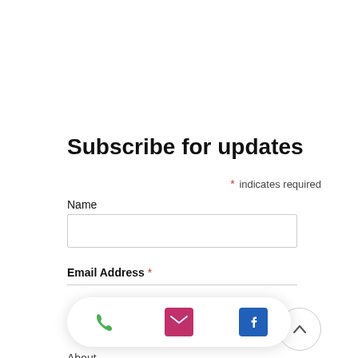Subscribe for updates
* indicates required
Name
Email Address *
Quick Links
About
Suppo...
[Figure (infographic): Bottom floating action bar with phone (green), email (pink/magenta), and Facebook (blue) icons]